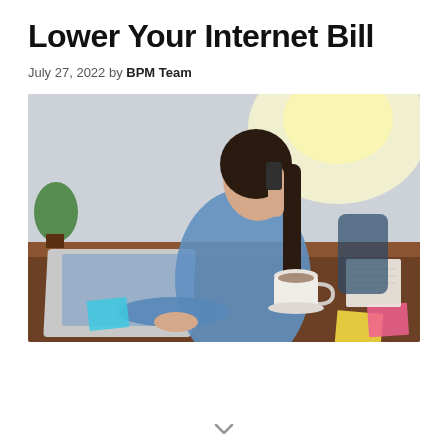Lower Your Internet Bill
July 27, 2022 by BPM Team
[Figure (photo): Woman sitting at a wooden desk, talking on a phone while typing on a laptop. Coffee cup, sticky notes and books visible. Bright window light in background.]